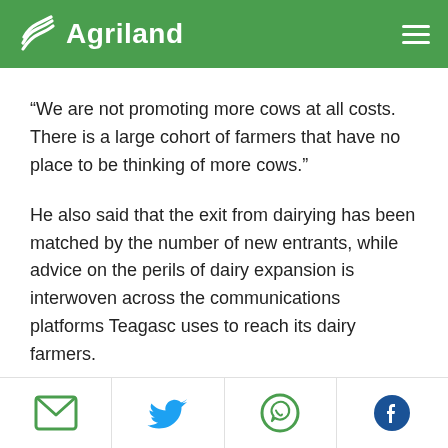Agriland
“We are not promoting more cows at all costs. There is a large cohort of farmers that have no place to be thinking of more cows.”
He also said that the exit from dairying has been matched by the number of new entrants, while advice on the perils of dairy expansion is interwoven across the communications platforms Teagasc uses to reach its dairy farmers.
Social share icons: Email, Twitter, WhatsApp, Facebook